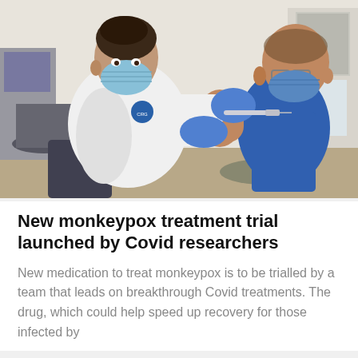[Figure (photo): A healthcare worker in a white lab coat and blue surgical gloves and face mask administering an injection into the upper arm of a seated male patient wearing a blue shirt and face mask, in a medical office setting.]
New monkeypox treatment trial launched by Covid researchers
New medication to treat monkeypox is to be trialled by a team that leads on breakthrough Covid treatments. The drug, which could help speed up recovery for those infected by...